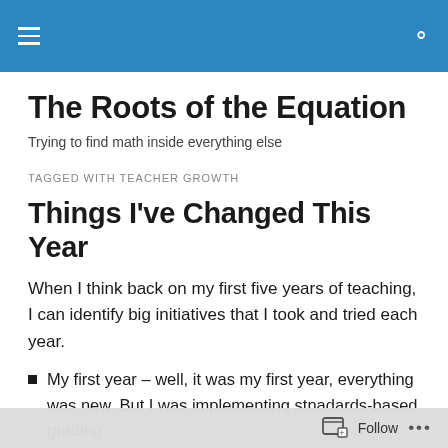The Roots of the Equation — site header bar
The Roots of the Equation
Trying to find math inside everything else
TAGGED WITH TEACHER GROWTH
Things I've Changed This Year
When I think back on my first five years of teaching, I can identify big initiatives that I took and tried each year.
My first year – well, it was my first year, everything was new. But I was implementing stnadards-based grading
Follow ...